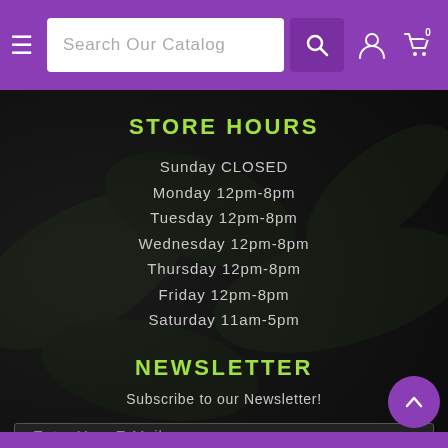Search Our Catalog [navigation bar with search, user, cart icons]
STORE HOURS
Sunday CLOSED
Monday 12pm-8pm
Tuesday 12pm-8pm
Wednesday 12pm-8pm
Thursday 12pm-8pm
Friday 12pm-8pm
Saturday 11am-5pm
NEWSLETTER
Subscribe to our Newsletter!
Enter Your E-Mail